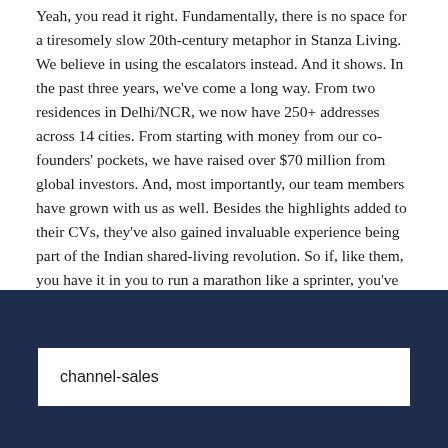Yeah, you read it right. Fundamentally, there is no space for a tiresomely slow 20th-century metaphor in Stanza Living. We believe in using the escalators instead. And it shows. In the past three years, we've come a long way. From two residences in Delhi/NCR, we now have 250+ addresses across 14 cities. From starting with money from our co-founders' pockets, we have raised over $70 million from global investors. And, most importantly, our team members have grown with us as well. Besides the highlights added to their CVs, they've also gained invaluable experience being part of the Indian shared-living revolution. So if, like them, you have it in you to run a marathon like a sprinter, you've come to the right organisation.
channel-sales